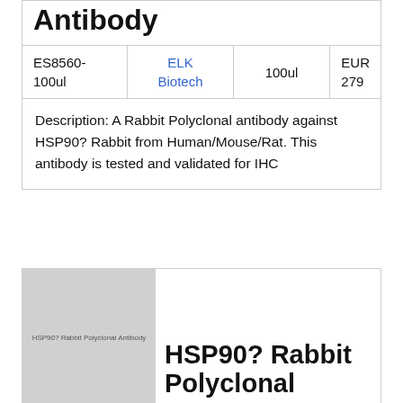Antibody
| ES8560-100ul | ELK Biotech | 100ul | EUR 279 |
| --- | --- | --- | --- |
Description: A Rabbit Polyclonal antibody against HSP90? Rabbit from Human/Mouse/Rat. This antibody is tested and validated for IHC
[Figure (photo): Product image placeholder showing HSP90? Rabbit Polyclonal Antibody label]
HSP90? Rabbit Polyclonal